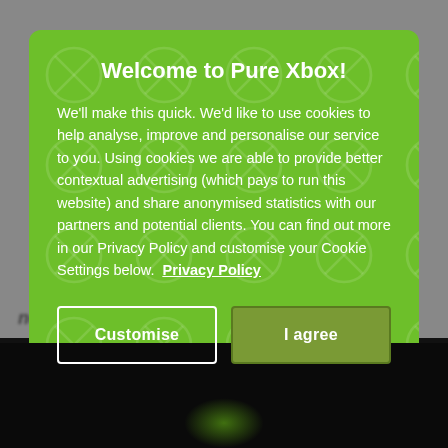Welcome to Pure Xbox!
We'll make this quick. We'd like to use cookies to help analyse, improve and personalise our service to you. Using cookies we are able to provide better contextual advertising (which pays to run this website) and share anonymised statistics with our partners and potential clients. You can find out more in our Privacy Policy and customise your Cookie Settings below.  Privacy Policy
Customise
I agree